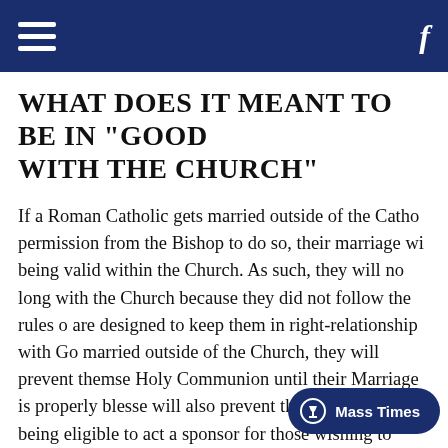Navigation bar with hamburger menu and Facebook link
WHAT DOES IT MEANT TO BE IN "GOOD STANDING WITH THE CHURCH"
If a Roman Catholic gets married outside of the Catholic Church without permission from the Bishop to do so, their marriage will be considered as not being valid within the Church. As such, they will no longer be in good standing with the Church because they did not follow the rules of the Church which are designed to keep them in right-relationship with God. By choosing to get married outside of the Church, they will prevent themselves from receiving Holy Communion until their Marriage is properly blessed by the Church. They will also prevent themselves from being eligible to act as a godparent or sponsor for those wishing to receive the Sacraments of Baptism or Confirmation. They will also be excluded from participating in ministries like being a lector, extrao...